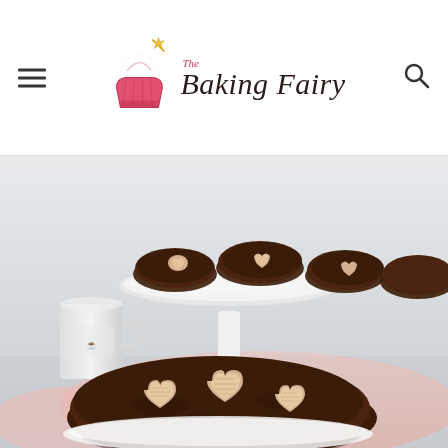[Figure (logo): The Baking Fairy blog logo with illustrated cupcake and script text]
[Figure (photo): Chocolate cookies topped with heart-shaped candies, displayed on a white cake stand and a white plate, with a white mug in the background, pink fabric, light gray background]